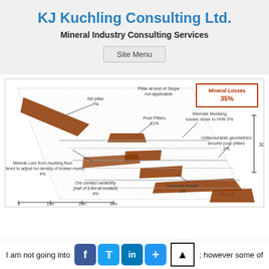KJ Kuchling Consulting Ltd.
Mineral Industry Consulting Services
Site Menu
[Figure (engineering-diagram): Mining stope cross-section diagram showing mineral losses breakdown: Sill pillar 7%, Pillar at end of Stope not applicable, Post Pillars 11%, Remote Mucking losses close to H/W 2%, Unfavourable geometries around post pillars 2%, Mineral Loss from mucking floor (altered to adjust for density of broken muck) 4%, Ore contact variability (half of 0.6m at contact) 4%, Footwall losses 3%. Total Mineral Losses 35%. Scale bar shows 30m vertical and 0-30m horizontal.]
I am not going into
; however some of